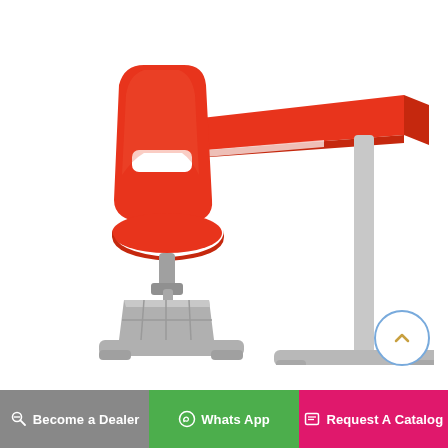[Figure (photo): A red student chair with a white rectangular cutout in the backrest paired with a matching red trapezoidal desktop on a silver/grey metal frame. The chair has a swivel base with an under-seat storage basket in grey metal, and the desk has a single vertical pillar leg with a flat T-shaped base.]
Become a Dealer
Whats App
Request A Catalog